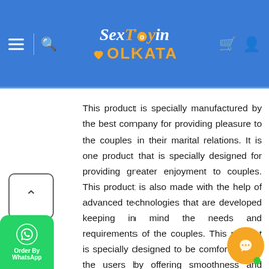SexToyin Kolkata — navigation header with logo, hamburger menu, search, cart, and user icons
This product is specially manufactured by the best company for providing pleasure to the couples in their marital relations. It is one product that is specially designed for providing greater enjoyment to couples. This product is also made with the help of advanced technologies that are developed keeping in mind the needs and requirements of the couples. This product is specially designed to be comfortable for the users by offering smoothness and softness. The products also offer the user with enhanced stimulation to provide them with the best possible sexual pleasure.